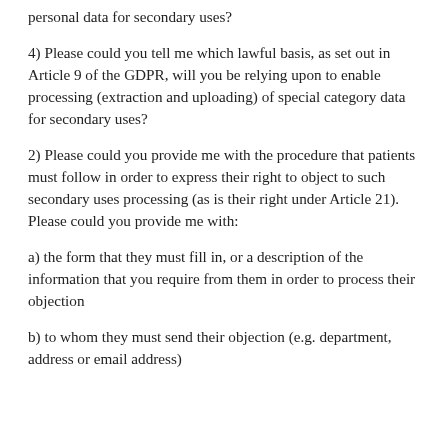personal data for secondary uses?
4) Please could you tell me which lawful basis, as set out in Article 9 of the GDPR, will you be relying upon to enable processing (extraction and uploading) of special category data for secondary uses?
2) Please could you provide me with the procedure that patients must follow in order to express their right to object to such secondary uses processing (as is their right under Article 21).
Please could you provide me with:
a) the form that they must fill in, or a description of the information that you require from them in order to process their objection
b) to whom they must send their objection (e.g. department, address or email address)